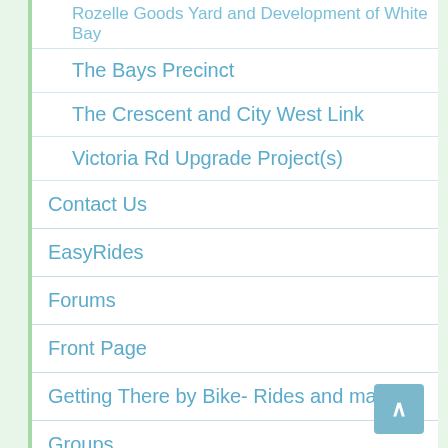Rozelle Goods Yard and Development of White Bay
The Bays Precinct
The Crescent and City West Link
Victoria Rd Upgrade Project(s)
Contact Us
EasyRides
Forums
Front Page
Getting There by Bike- Rides and maps
Groups
Herald Editorials on Cycling
Inner West Bicycle Coalition
Jim's Le Mans 24 hr race